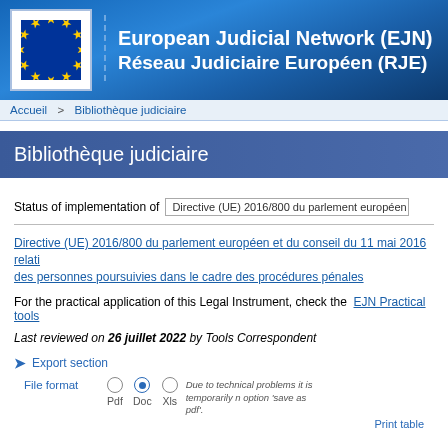[Figure (logo): European Union flag logo with stars circle on blue background, next to header text]
European Judicial Network (EJN)
Réseau Judiciaire Européen (RJE)
Accueil > Bibliothèque judiciaire
Bibliothèque judiciaire
Status of implementation of  Directive (UE) 2016/800 du parlement européen et du
Directive (UE) 2016/800 du parlement européen et du conseil du 11 mai 2016 relati des personnes poursuivies dans le cadre des procédures pénales
For the practical application of this Legal Instrument, check the  EJN Practical tools
Last reviewed on 26 juillet 2022 by Tools Correspondent
Export section
File format  Pdf  Doc  Xls  Due to technical problems it is temporarily n option 'save as pdf'.
Print table